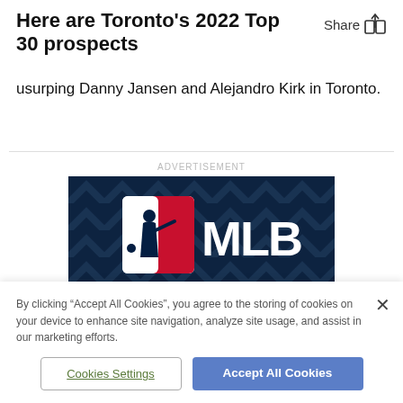Here are Toronto's 2022 Top 30 prospects
usurping Danny Jansen and Alejandro Kirk in Toronto.
ADVERTISEMENT
[Figure (logo): MLB logo on dark navy blue chevron-patterned background. White rectangular logo with silhouette of batter and letters MLB in white/navy with red accent.]
By clicking "Accept All Cookies", you agree to the storing of cookies on your device to enhance site navigation, analyze site usage, and assist in our marketing efforts.
Cookies Settings
Accept All Cookies